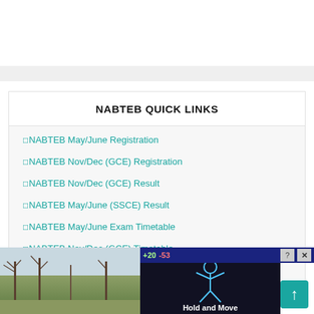NABTEB QUICK LINKS
NABTEB May/June Registration
NABTEB Nov/Dec (GCE) Registration
NABTEB Nov/Dec (GCE) Result
NABTEB May/June (SSCE) Result
NABTEB May/June Exam Timetable
NABTEB Nov/Dec (GCE) Timetable
NAB...
NAB...
[Figure (screenshot): Ad overlay at bottom of page showing a game advertisement with 'Hold and Move' text, score indicators (+20, -53), help (?) and close (X) buttons, and a background image of bare trees.]